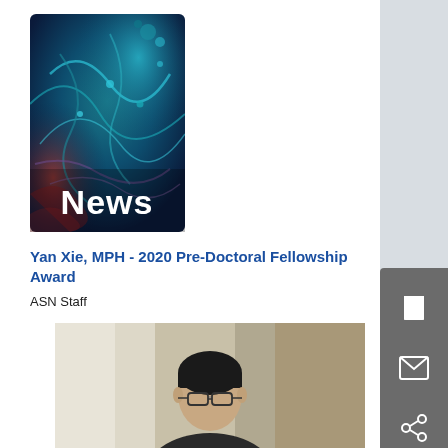[Figure (photo): News thumbnail image showing abstract neural/biological artwork in teal and purple tones with large white bold text 'News' overlaid at bottom center]
Yan Xie, MPH - 2020 Pre-Doctoral Fellowship Award
ASN Staff
[Figure (photo): Partial photo of a person (appears to be a man with glasses) in an office setting with cubicle partitions visible in the background]